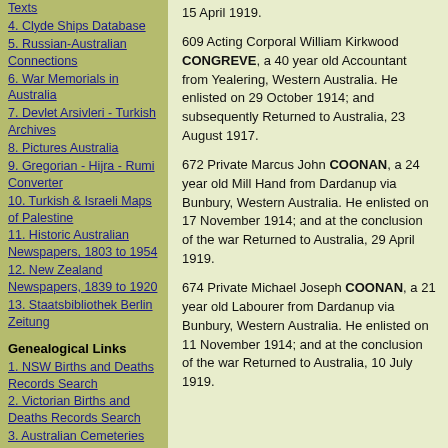Texts
4. Clyde Ships Database
5. Russian-Australian Connections
6. War Memorials in Australia
7. Devlet Arsivleri - Turkish Archives
8. Pictures Australia
9. Gregorian - Hijra - Rumi Converter
10. Turkish & Israeli Maps of Palestine
11. Historic Australian Newspapers, 1803 to 1954
12. New Zealand Newspapers, 1839 to 1920
13. Staatsbibliothek Berlin Zeitung
Genealogical Links
1. NSW Births and Deaths Records Search
2. Victorian Births and Deaths Records Search
3. Australian Cemeteries
4. England- 1901 Census
5. Scotlands People
6. Society of Australian
15 April 1919.
609 Acting Corporal William Kirkwood CONGREVE, a 40 year old Accountant from Yealering, Western Australia. He enlisted on 29 October 1914; and subsequently Returned to Australia, 23 August 1917.
672 Private Marcus John COONAN, a 24 year old Mill Hand from Dardanup via Bunbury, Western Australia. He enlisted on 17 November 1914; and at the conclusion of the war Returned to Australia, 29 April 1919.
674 Private Michael Joseph COONAN, a 21 year old Labourer from Dardanup via Bunbury, Western Australia. He enlisted on 11 November 1914; and at the conclusion of the war Returned to Australia, 10 July 1919.